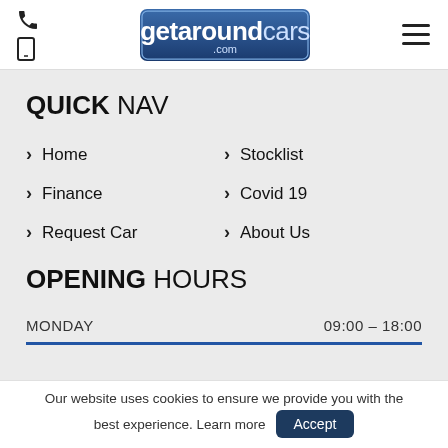getaroundcars.com
QUICK NAV
Home
Stocklist
Finance
Covid 19
Request Car
About Us
OPENING HOURS
| Day | Hours |
| --- | --- |
| MONDAY | 09:00 - 18:00 |
Our website uses cookies to ensure we provide you with the best experience. Learn more  Accept